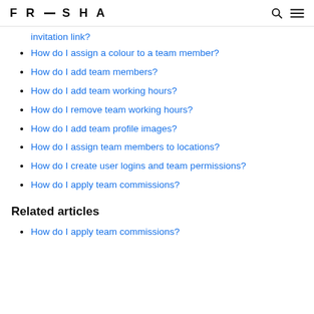FRESHA
invitation link?
How do I assign a colour to a team member?
How do I add team members?
How do I add team working hours?
How do I remove team working hours?
How do I add team profile images?
How do I assign team members to locations?
How do I create user logins and team permissions?
How do I apply team commissions?
Related articles
How do I apply team commissions?